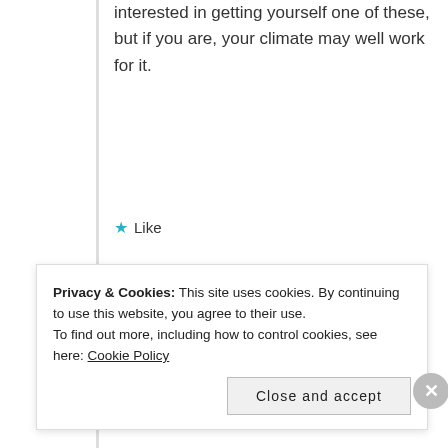interested in getting yourself one of these, but if you are, your climate may well work for it.
Like
Helen
JULY 21, 2017 AT 4:37 PM
Privacy & Cookies: This site uses cookies. By continuing to use this website, you agree to their use.
To find out more, including how to control cookies, see here: Cookie Policy
Close and accept